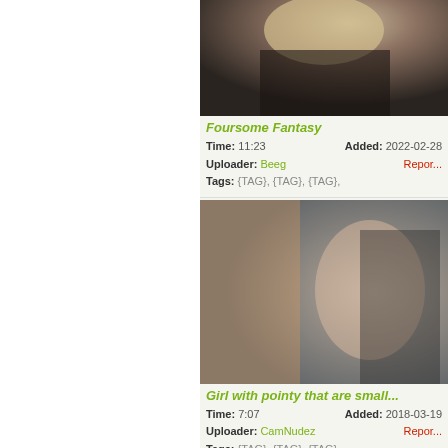[Figure (photo): Thumbnail image for Foursome Fantasy video]
Foursome Fantasy
Time: 11:23    Added: 2022-02-28
Uploader: Beeg    Report
Tags: {TAG}, {TAG}, {TAG},
[Figure (photo): Thumbnail image for Girl with pointy that are small... video]
Girl with pointy that are small...
Time: 7:07    Added: 2018-03-19
Uploader: CamNudez    Report
Tags: {TAG}, {TAG}, {TAG},
[Figure (photo): Partial thumbnail at bottom of page]